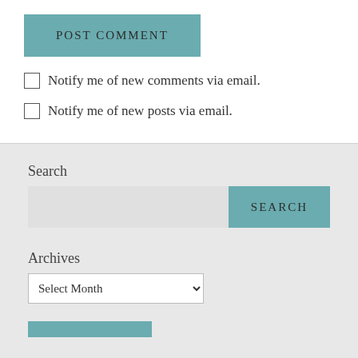[Figure (screenshot): POST COMMENT button with teal/muted green background and uppercase text]
Notify me of new comments via email.
Notify me of new posts via email.
Search
[Figure (screenshot): Search input field and SEARCH button with teal background]
Archives
[Figure (screenshot): Archives dropdown showing Select Month]